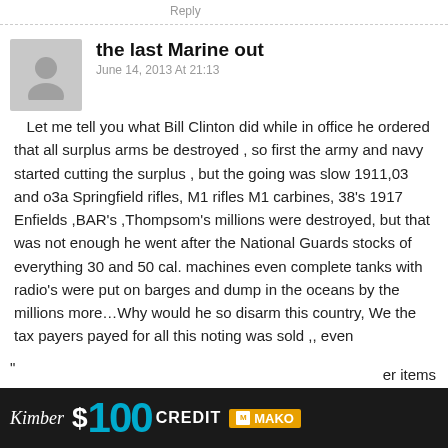Reply
the last Marine out
June 14, 2013 At 21:13
Let me tell you what Bill Clinton did while in office he ordered that all surplus arms be destroyed , so first the army and navy started cutting the surplus , but the going was slow 1911,03 and o3a Springfield rifles, M1 rifles M1 carbines, 38's 1917 Enfields ,BAR's ,Thompsom's millions were destroyed, but that was not enough he went after the National Guards stocks of everything 30 and 50 cal. machines even complete tanks with radio's were put on barges and dump in the oceans by the millions more…Why would he so disarm this country, We the tax payers payed for all this noting was sold ,, even " er items inton
[Figure (infographic): Advertisement banner: Kimber logo, $100 CREDIT text in teal/white, MAKO logo]